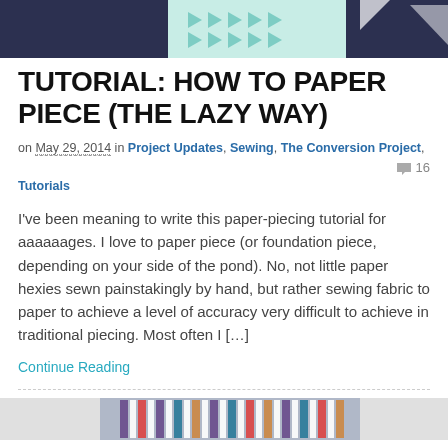[Figure (photo): Top banner image showing fabric/quilting pattern with teal geometric shapes on dark background]
TUTORIAL: HOW TO PAPER PIECE (THE LAZY WAY)
on May 29, 2014 in Project Updates, Sewing, The Conversion Project, Tutorials  💬 16
I've been meaning to write this paper-piecing tutorial for aaaaaages. I love to paper piece (or foundation piece, depending on your side of the pond). No, not little paper hexies sewn painstakingly by hand, but rather sewing fabric to paper to achieve a level of accuracy very difficult to achieve in traditional piecing. Most often I […]
Continue Reading
[Figure (photo): Bottom image showing colorful striped fabric rolls/bolts]